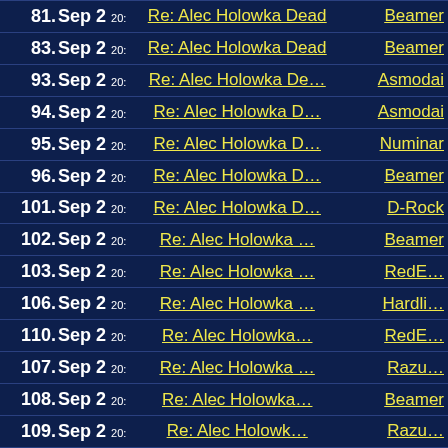81. Sep 2 20: Re: Alec Holowka Dead Beamer
83. Sep 2 20: Re: Alec Holowka Dead Beamer
93. Sep 2 20: Re: Alec Holowka De... Asmodai
94. Sep 2 20: Re: Alec Holowka D... Asmodai
95. Sep 2 20: Re: Alec Holowka D... Numinar
96. Sep 2 20: Re: Alec Holowka D... Beamer
101. Sep 2 20: Re: Alec Holowka D... D-Rock
102. Sep 2 20: Re: Alec Holowka ... Beamer
103. Sep 2 20: Re: Alec Holowka ... RedE...
106. Sep 2 20: Re: Alec Holowka ... Hardli...
110. Sep 2 20: Re: Alec Holowka... RedE...
107. Sep 2 20: Re: Alec Holowka ... Razu...
108. Sep 2 20: Re: Alec Holowka... Beamer
109. Sep 2 20: Re: Alec Holowk... Razu...